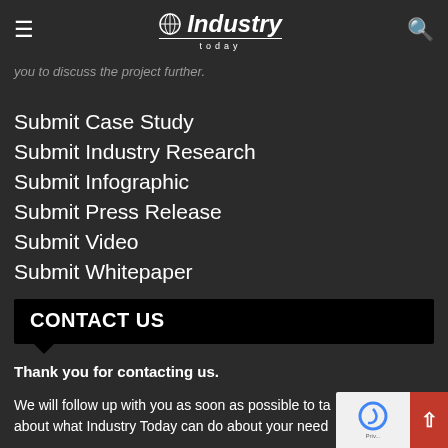Industry Today
you to discuss the project further.
Submit Case Study
Submit Industry Research
Submit Infographic
Submit Press Release
Submit Video
Submit Whitepaper
CONTACT US
Thank you for contacting us.
We will follow up with you as soon as possible to talk about what Industry Today can do about your need